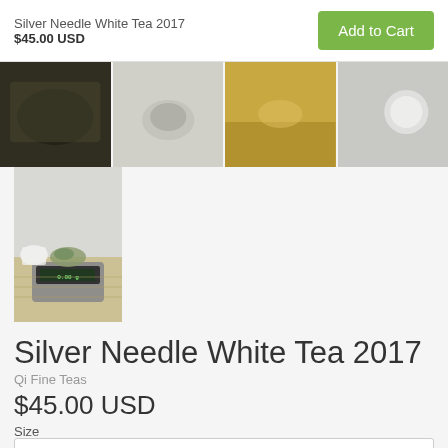Silver Needle White Tea 2017
$45.00 USD
[Figure (screenshot): E-commerce product page for Silver Needle White Tea 2017 showing thumbnail images of tea and a digital scale, product title, price $45.00 USD, vendor Qi Fine Teas, size selector with 50g option, and Add to Cart button]
Silver Needle White Tea 2017
Qi Fine Teas
$45.00 USD
Size
50g